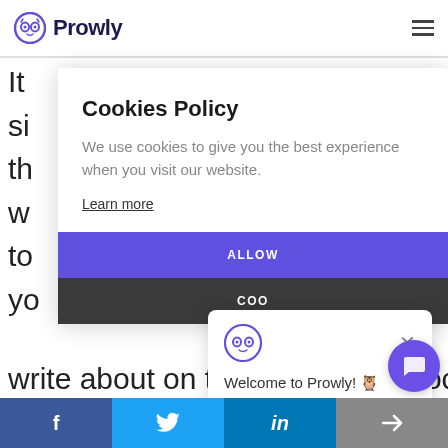Prowly
It
si
th
w
to
yo
Cookies Policy
We use cookies to give you the best experience when you visit our website.
Learn more
ALLOW
COO
Welcome to Prowly! 🦉 We're here to help you out with anything you may need.
Th
ki
write about on their blogs and social med
f  Twitter  in